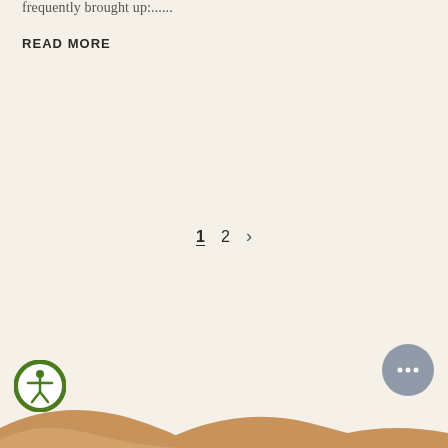frequently brought up:......
READ MORE
1  2  >
[Figure (illustration): Desert sand dune landscape illustration at the bottom of the page in warm tan/brown colors]
[Figure (illustration): Circular green accessibility icon button (person with arms outstretched) in bottom left corner]
[Figure (illustration): Circular grey chat/messaging button with ellipsis (...) in bottom right corner]